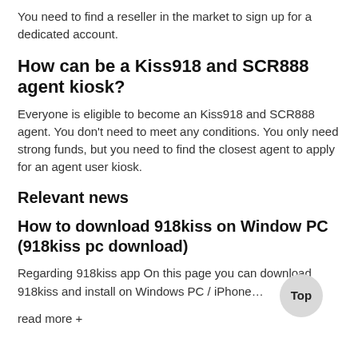You need to find a reseller in the market to sign up for a dedicated account.
How can be a Kiss918 and SCR888 agent kiosk?
Everyone is eligible to become an Kiss918 and SCR888 agent. You don't need to meet any conditions. You only need strong funds, but you need to find the closest agent to apply for an agent user kiosk.
Relevant news
How to download 918kiss on Window PC (918kiss pc download)
Regarding 918kiss app On this page you can download 918kiss and install on Windows PC / iPhone…
read more +